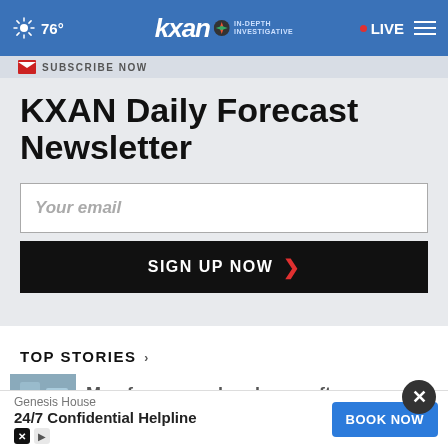76° | KXAN IN-DEPTH INVESTIGATIVE | LIVE
SUBSCRIBE NOW
KXAN Daily Forecast Newsletter
Your email
SIGN UP NOW
TOP STORIES ›
Man faces murder charge after
An extinct volcano is right here in
Genesis House · 24/7 Confidential Helpline · BOOK NOW